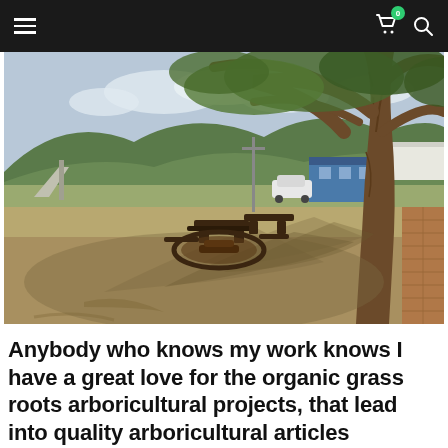Navigation bar with hamburger menu, cart icon (badge: 0), and search icon
[Figure (photo): Outdoor park scene with a large tree casting shadows on dry grass. Picnic tables and benches are visible under the tree. In the background there are green hills, a blue building, a white car, and a white tent structure. The foreground shows dry patchy ground with tree root shadows.]
Anybody who knows my work knows I have a great love for the organic grass roots arboricultural projects, that lead into quality arboricultural articles